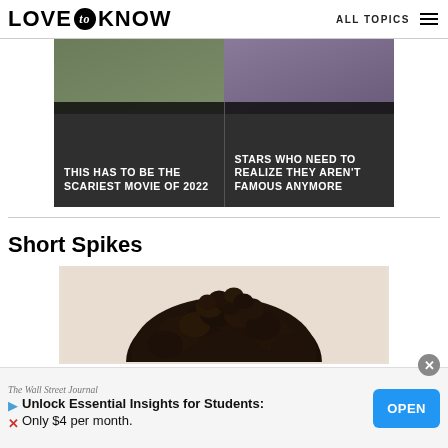LOVE to KNOW — ALL TOPICS
[Figure (photo): Two cropped promotional images side by side with text overlays: 'THIS HAS TO BE THE SCARIEST MOVIE OF 2022' on the left and 'STARS WHO NEED TO REALIZE THEY AREN'T FAMOUS ANYMORE' on the right]
Short Spikes
[Figure (photo): Top of a person's head with short dark curly/spiky hair against a light beige background]
Unlock Essential Insights for Students: Only $4 per month.